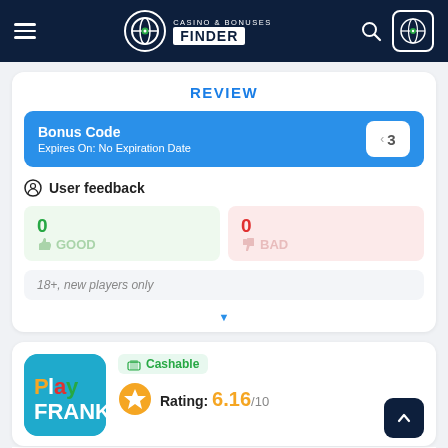Casino & Bonuses Finder
REVIEW
Bonus Code
Expires On: No Expiration Date
User feedback
0 GOOD
0 BAD
18+, new players only
Cashable
Rating: 6.16/10
Available for players from Sierra Leone